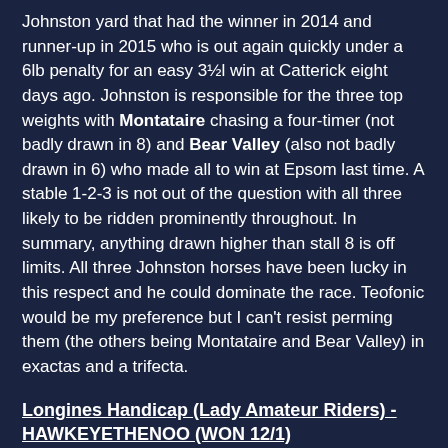Johnston yard that had the winner in 2014 and runner-up in 2015 who is out again quickly under a 6lb penalty for an easy 3½l win at Catterick eight days ago. Johnston is responsible for the three top weights with Montataire chasing a four-timer (not badly drawn in 8) and Bear Valley (also not badly drawn in 6) who made all to win at Epsom last time. A stable 1-2-3 is not out of the question with all three likely to be ridden prominently throughout. In summary, anything drawn higher than stall 8 is off limits. All three Johnston horses have been lucky in this respect and he could dominate the race. Teofonic would be my preference but I can't resist perming them (the others being Montataire and Bear Valley) in exactas and a trifecta.
Longines Handicap (Lady Amateur Riders) - HAWKEYETHENOO (WON 12/1)
Not the race it used to be when Maxine Juster used to win it or Lydia Pearce or even Princess Anne since it was